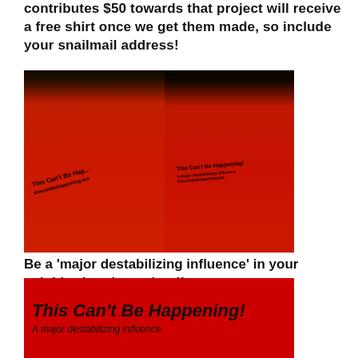contributes $50 towards that project will receive a free shirt once we get them made, so include your snailmail address!
[Figure (photo): Two young people wearing red 'This Can't Be Happening!' t-shirts, standing near a wall, smiling at each other.]
Be a 'major destabilizing influence' in your neighborhood or school!
[Figure (photo): Close-up of a red t-shirt reading 'This Can't Be Happening! A major destabilizing influence']